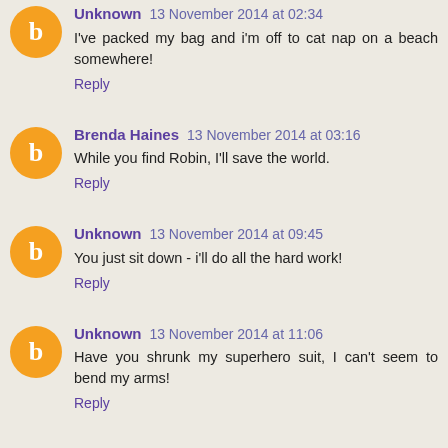Unknown 13 November 2014 at 02:34
I've packed my bag and i'm off to cat nap on a beach somewhere!
Reply
Brenda Haines 13 November 2014 at 03:16
While you find Robin, I'll save the world.
Reply
Unknown 13 November 2014 at 09:45
You just sit down - i'll do all the hard work!
Reply
Unknown 13 November 2014 at 11:06
Have you shrunk my superhero suit, I can't seem to bend my arms!
Reply